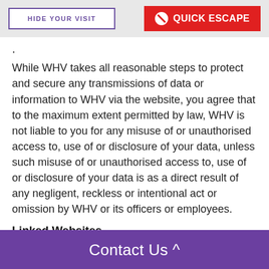HIDE YOUR VISIT | QUICK ESCAPE
While WHV takes all reasonable steps to protect and secure any transmissions of data or information to WHV via the website, you agree that to the maximum extent permitted by law, WHV is not liable to you for any misuse of or unauthorised access to, use of or disclosure of your data, unless such misuse of or unauthorised access to, use of or disclosure of your data is as a direct result of any negligent, reckless or intentional act or omission by WHV or its officers or employees.
Linked Websites
This website may provide links to and may be linked from websites that WHV does not control. Such links are provided for your convenience only. The fact that WHV
Contact Us ^